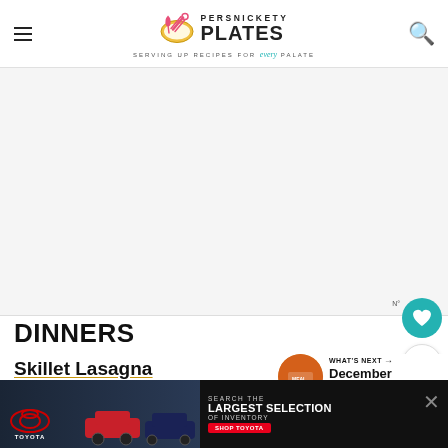Persnickety Plates — SERVING UP RECIPES FOR every PALATE
[Figure (other): Advertisement banner area (white/light gray rectangle)]
DINNERS
Skillet Lasagna
Sheet Pan Fajitas
Minestrone
[Figure (other): What's Next widget showing December Meal Plan with circular food image]
[Figure (other): Toyota advertisement banner at bottom: Search the Largest Selection of Inventory — Shop Toyota]